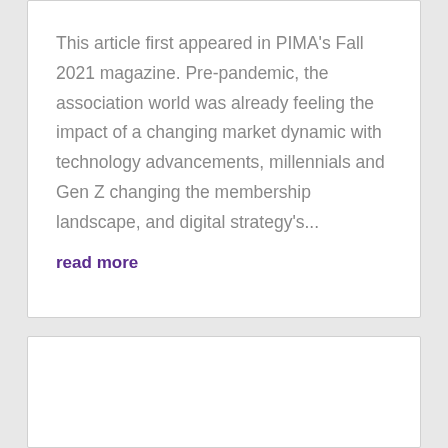This article first appeared in PIMA's Fall 2021 magazine. Pre-pandemic, the association world was already feeling the impact of a changing market dynamic with technology advancements, millennials and Gen Z changing the membership landscape, and digital strategy's...
read more